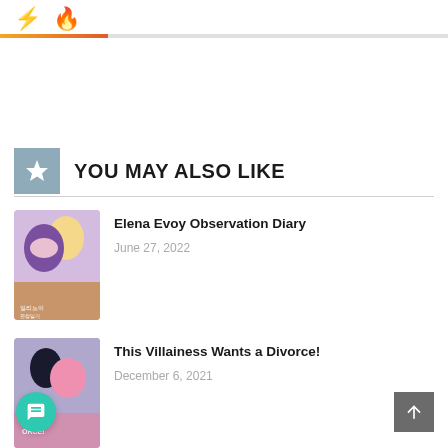⚡ 🔥 (icon navigation bar with progress indicators)
YOU MAY ALSO LIKE
[Figure (illustration): Manga/anime style book cover for 'Elena Evoy Observation Diary' showing two characters, one with purple hair and one blonde, with Korean text]
Elena Evoy Observation Diary
June 27, 2022
[Figure (illustration): Manga/anime style book cover for 'This Villainess Wants a Divorce!' showing a dark-haired male and pink-haired female character with text ORCE! visible]
This Villainess Wants a Divorce!
December 6, 2021